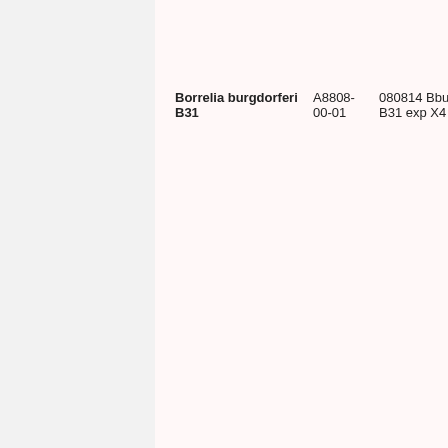| Borrelia burgdorferi B31 | A8808-00-01 | 080814 Bbur B31 exp X4 | 4x72K |